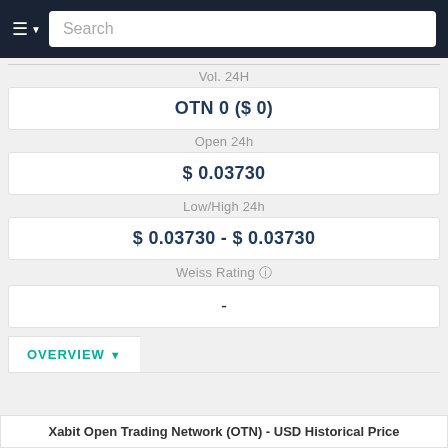Search
Vol. 24H
OTN 0 ($ 0)
Open 24h
$ 0.03730
Low/High 24h
$ 0.03730 - $ 0.03730
Weiss Rating
-
OVERVIEW
Xabit Open Trading Network (OTN) - USD Historical Price